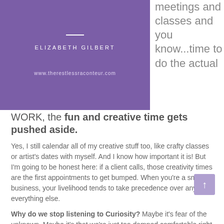[Figure (illustration): Purple/violet box with a horizontal white divider line, the text 'ELIZABETH GILBERT' in white spaced caps, and 'www.therestlessraconteur.com' in small white text below]
meetings and classes and you know...time to do the actual
WORK, the fun and creative time gets pushed aside.
Yes, I still calendar all of my creative stuff too, like crafty classes or artist's dates with myself. And I know how important it is! But I'm going to be honest here: if a client calls, those creativity times are the first appointments to get bumped. When you're a small business, your livelihood tends to take precedence over any and everything else.
Why do we stop listening to Curiosity? Maybe it's fear of the unknown. Maybe it's that we're just too damned comfortable right where we are.
But here's why Curiosity matters: if I'm not following my